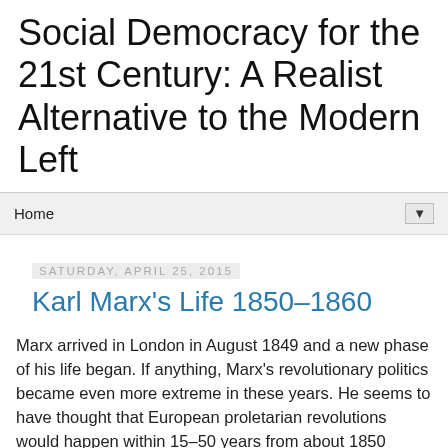Social Democracy for the 21st Century: A Realist Alternative to the Modern Left
Home ▼
Saturday, April 25, 2015
Karl Marx's Life 1850–1860
Marx arrived in London in August 1849 and a new phase of his life began. If anything, Marx's revolutionary politics became even more extreme in these years. He seems to have thought that European proletarian revolutions would happen within 15–50 years from about 1850 (Sperber 2014: 266).